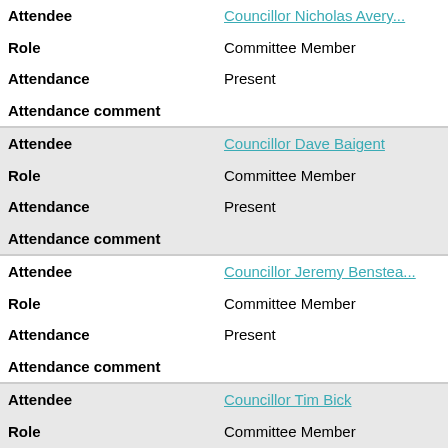| Field | Value |
| --- | --- |
| Attendee | Councillor Nicholas Avery |
| Role | Committee Member |
| Attendance | Present |
| Attendance comment |  |
| Attendee | Councillor Dave Baigent |
| Role | Committee Member |
| Attendance | Present |
| Attendance comment |  |
| Attendee | Councillor Jeremy Benstead |
| Role | Committee Member |
| Attendance | Present |
| Attendance comment |  |
| Attendee | Councillor Tim Bick |
| Role | Committee Member |
| Attendance | Present |
| Attendance comment |  |
| Attendee | Councillor Gerri Bird |
| Role | Committee Member |
| Attendance | Present |